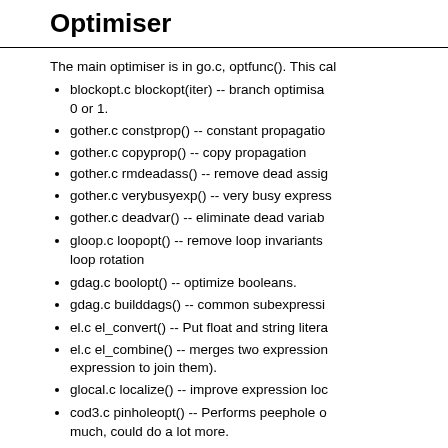Optimiser
The main optimiser is in go.c, optfunc(). This cal
blockopt.c blockopt(iter) -- branch optimisa... 0 or 1.
gother.c constprop() -- constant propagatio
gother.c copyprop() -- copy propagation
gother.c rmdeadass() -- remove dead assig
gother.c verybusyexp() -- very busy express
gother.c deadvar() -- eliminate dead variab
gloop.c loopopt() -- remove loop invariants loop rotation
gdag.c boolopt() -- optimize booleans.
gdag.c builddags() -- common subexpressi
el.c el_convert() -- Put float and string litera
el.c el_combine() -- merges two expression expression to join them).
glocal.c localize() -- improve expression loc
cod3.c pinholeopt() -- Performs peephole o much, could do a lot more.
Code generation